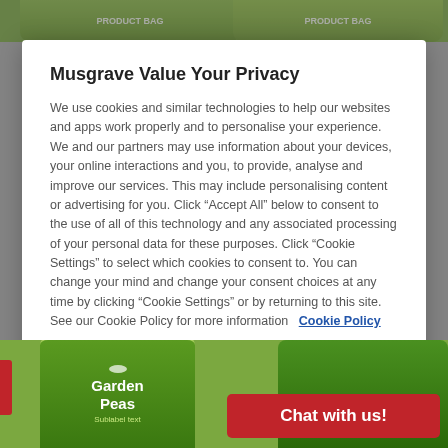[Figure (screenshot): Top portion of a grocery website showing green product bags in the background, partially visible behind a cookie consent modal overlay.]
Musgrave Value Your Privacy
We use cookies and similar technologies to help our websites and apps work properly and to personalise your experience. We and our partners may use information about your devices, your online interactions and you, to provide, analyse and improve our services. This may include personalising content or advertising for you. Click “Accept All” below to consent to the use of all of this technology and any associated processing of your personal data for these purposes. Click “Cookie Settings” to select which cookies to consent to. You can change your mind and change your consent choices at any time by clicking “Cookie Settings” or by returning to this site. See our Cookie Policy for more information  Cookie Policy
Reject All Cookies
Accept All Cookies
Cookies Settings
[Figure (screenshot): Bottom portion of grocery website showing green Garden Peas product bags and a red 'Chat with us!' button in the bottom right corner.]